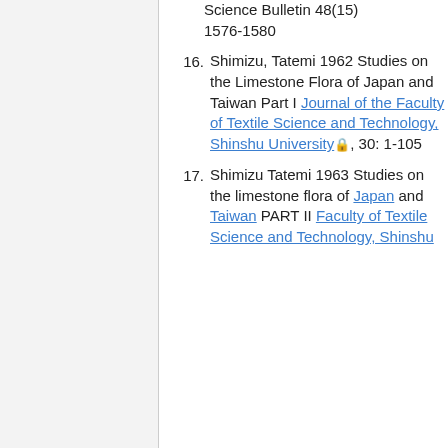Science Bulletin 48(15) 1576-1580
16. Shimizu, Tatemi 1962 Studies on the Limestone Flora of Japan and Taiwan Part I Journal of the Faculty of Textile Science and Technology, Shinshu University, 30: 1-105
17. Shimizu Tatemi 1963 Studies on the limestone flora of Japan and Taiwan PART II Faculty of Textile Science and Technology, Shinshu